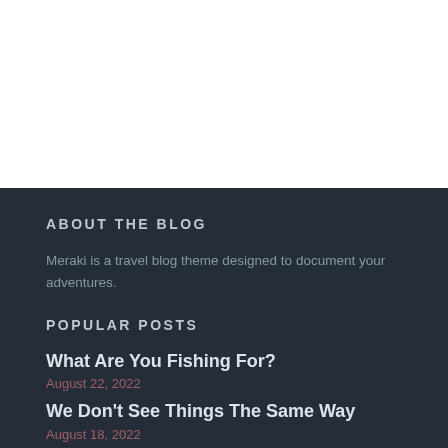[Figure (photo): White background top section of a blog webpage]
ABOUT THE BLOG
Meraki is a travel blog theme designed to document your adventures.
POPULAR POSTS
What Are You Fishing For?
August 22, 2022
We Don't See Things The Same Way
August 18, 2022